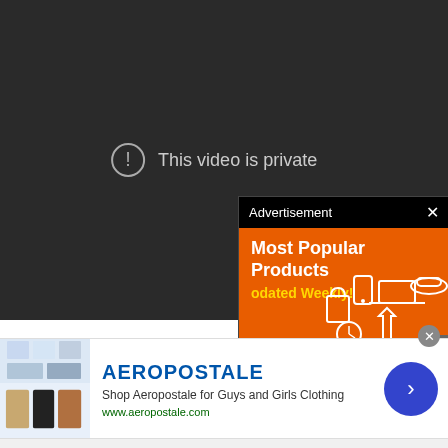[Figure (screenshot): Dark video player showing 'This video is private' message with a circle exclamation icon]
This video is private
[Figure (screenshot): Advertisement overlay popup with black header bar showing 'Advertisement' and X close button, orange body with 'Most Popular Products' and 'Updated Weekly!' text and shopping icons]
Advertisement
Most Popular Products
Updated Weekly!
[Figure (screenshot): Bottom banner advertisement for Aeropostale showing brand name, description 'Shop Aeropostale for Guys and Girls Clothing', website www.aeropostale.com, with product images and navigation arrow button]